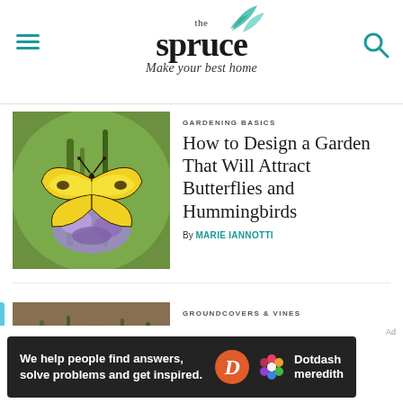the spruce – Make your best home
[Figure (photo): Yellow swallowtail butterfly on purple flowers with green background]
GARDENING BASICS
How to Design a Garden That Will Attract Butterflies and Hummingbirds
By MARIE IANNOTTI
[Figure (photo): Small purple/blue flowers (woodland phlox) with blurred earth background]
GROUNDCOVERS & VINES
How to Grow and Care for Woodland Phlox
By DAVID BEAULIEU
Ad
We help people find answers, solve problems and get inspired. Dotdash meredith